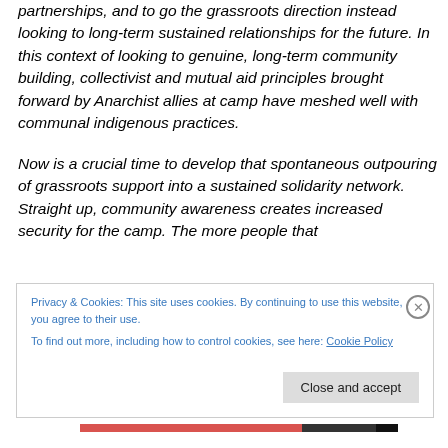partnerships, and to go the grassroots direction instead looking to long-term sustained relationships for the future. In this context of looking to genuine, long-term community building, collectivist and mutual aid principles brought forward by Anarchist allies at camp have meshed well with communal indigenous practices.

Now is a crucial time to develop that spontaneous outpouring of grassroots support into a sustained solidarity network. Straight up, community awareness creates increased security for the camp. The more people that
Privacy & Cookies: This site uses cookies. By continuing to use this website, you agree to their use.
To find out more, including how to control cookies, see here: Cookie Policy